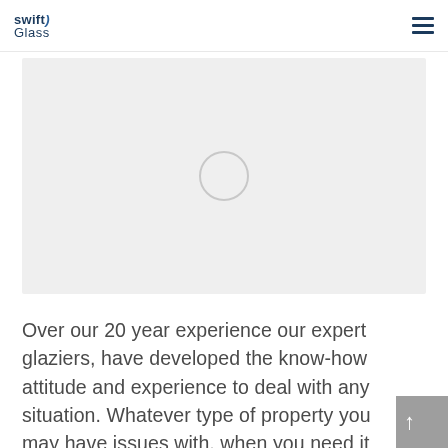swift Glass [logo] [hamburger menu]
[Figure (photo): Large image placeholder with light grey background and a circular loading spinner in the center]
Over our 20 year experience our expert glaziers, have developed the know-how attitude and experience to deal with any situation. Whatever type of property you may have issues with, when you need it boarding up in an emergency, then Swift Glass can do exactly